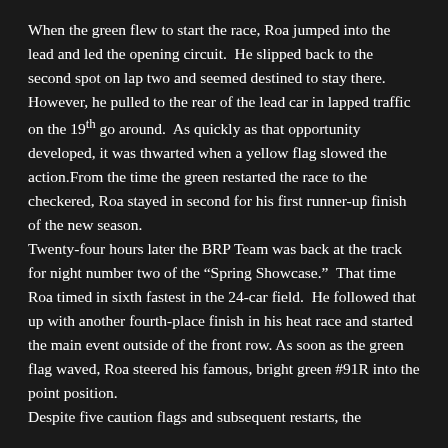When the green flew to start the race, Roa jumped into the lead and led the opening circuit.  He slipped back to the second spot on lap two and seemed destined to stay there.  However, he pulled to the rear of the lead car in lapped traffic on the 19th go around.  As quickly as that opportunity developed, it was thwarted when a yellow flag slowed the action.From the time the green restarted the race to the checkered, Roa stayed in second for his first runner-up finish of the new season.
Twenty-four hours later the BRP Team was back at the track for night number two of the “Spring Showcase.”  That time Roa timed in sixth fastest in the 24-car field.  He followed that up with another fourth-place finish in his heat race and started the main event outside of the front row. As soon as the green flag waved, Roa steered his famous, bright green #91R into the point position.
Despite five caution flags and subsequent restarts, the...